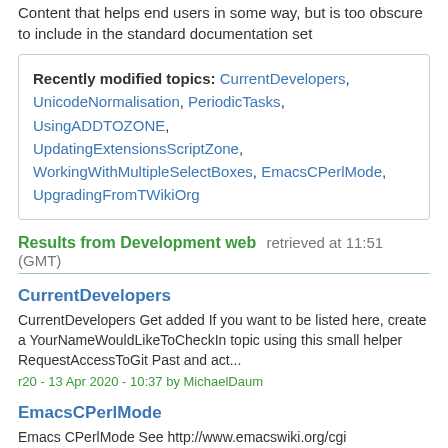Content that helps end users in some way, but is too obscure to include in the standard documentation set
Recently modified topics: CurrentDevelopers, UnicodeNormalisation, PeriodicTasks, UsingADDTOZONE, UpdatingExtensionsScriptZone, WorkingWithMultipleSelectBoxes, EmacsCPerlMode, UpgradingFromTWikiOrg
Results from Development web retrieved at 11:51 (GMT)
CurrentDevelopers
CurrentDevelopers Get added If you want to be listed here, create a YourNameWouldLikeToCheckIn topic using this small helper RequestAccessToGit Past and act...
r20 - 13 Apr 2020 - 10:37 by MichaelDaum
EmacsCPerlMode
Emacs CPerlMode See http://www.emacswiki.org/cgi bin/wiki/CPerlMode Use the following to load cperl mode instead of perl mode: ;;; cperl mode is preferred to...